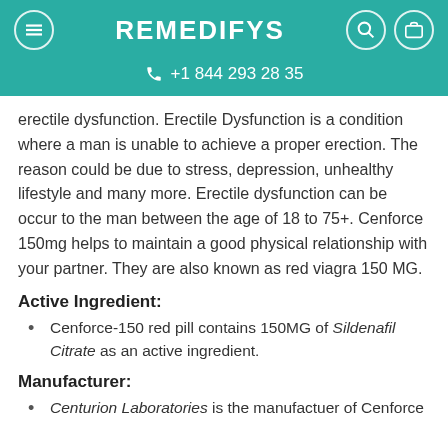REMEDIFYS +1 844 293 28 35
erectile dysfunction. Erectile Dysfunction is a condition where a man is unable to achieve a proper erection. The reason could be due to stress, depression, unhealthy lifestyle and many more. Erectile dysfunction can be occur to the man between the age of 18 to 75+. Cenforce 150mg helps to maintain a good physical relationship with your partner. They are also known as red viagra 150 MG.
Active Ingredient:
Cenforce-150 red pill contains 150MG of Sildenafil Citrate as an active ingredient.
Manufacturer:
Centurion Laboratories is the manufactuer of Cenforce